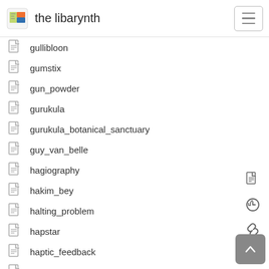the libarynth
gullibloon
gumstix
gun_powder
gurukula
gurukula_botanical_sanctuary
guy_van_belle
hagiography
hakim_bey
halting_problem
hapstar
haptic_feedback
haptree
hardened_bubbles
harmonic_surface
harold_cohen
hci
head_protection
heat_cold
heidance_rituelen